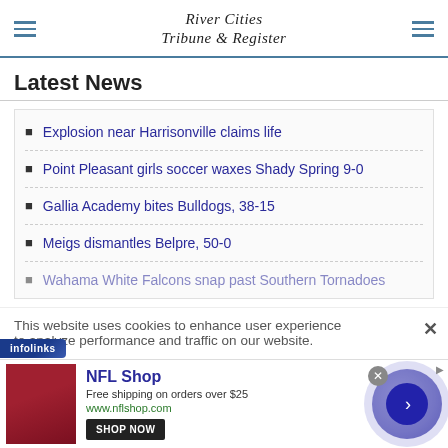River Cities Tribune & Register
Latest News
Explosion near Harrisonville claims life
Point Pleasant girls soccer waxes Shady Spring 9-0
Gallia Academy bites Bulldogs, 38-15
Meigs dismantles Belpre, 50-0
Wahama White Falcons snap past Southern Tornadoes
This website uses cookies to enhance user experience to analyze performance and traffic on our website.
[Figure (screenshot): NFL Shop advertisement banner with shop now button and arrow circle]